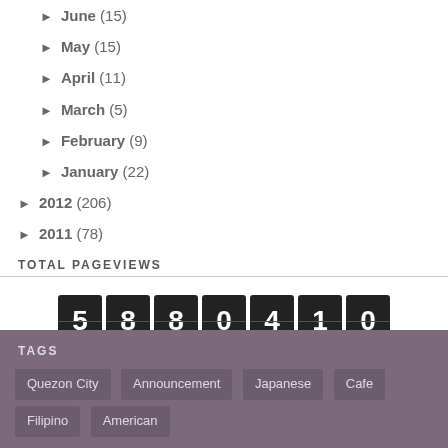► June (15)
► May (15)
► April (11)
► March (5)
► February (9)
► January (22)
► 2012 (206)
► 2011 (78)
TOTAL PAGEVIEWS
[Figure (other): Odometer-style page view counter showing the number 5880410]
TAGS
Quezon City
Announcement
Japanese
Cafe
Filipino
American